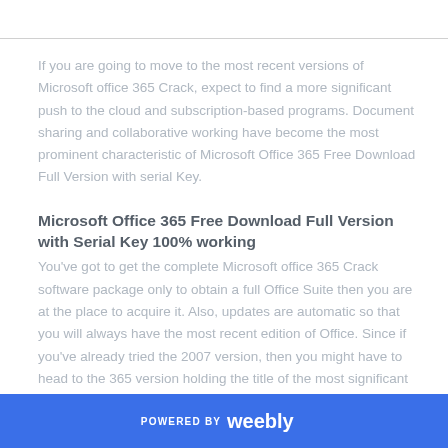If you are going to move to the most recent versions of Microsoft office 365 Crack, expect to find a more significant push to the cloud and subscription-based programs. Document sharing and collaborative working have become the most prominent characteristic of Microsoft Office 365 Free Download Full Version with serial Key.
Microsoft Office 365 Free Download Full Version with Serial Key 100% working
You've got to get the complete Microsoft office 365 Crack software package only to obtain a full Office Suite then you are at the place to acquire it. Also, updates are automatic so that you will always have the most recent edition of Office. Since if you've already tried the 2007 version, then you might have to head to the 365 version holding the title of the most significant release Microsoft has...and Microsoft Excel...and Office...
POWERED BY weebly